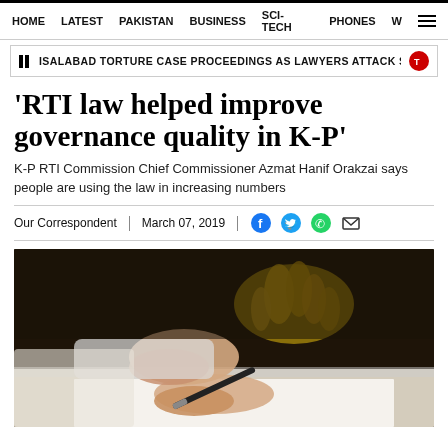HOME  LATEST  PAKISTAN  BUSINESS  SCI-TECH  PHONES  W
ISALABAD TORTURE CASE PROCEEDINGS AS LAWYERS ATTACK SHEIKH DANISH
'RTI law helped improve governance quality in K-P'
K-P RTI Commission Chief Commissioner Azmat Hanif Orakzai says people are using the law in increasing numbers
Our Correspondent  |  March 07, 2019
[Figure (photo): A person signing a document with a pen, with a decorative metal hand/gauntlet visible in the background holding a pen]